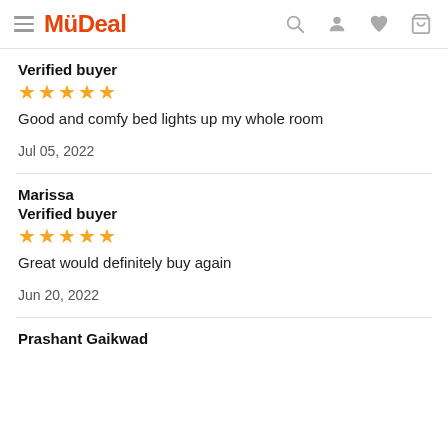MyDeal
Verified buyer
★★★★★
Good and comfy bed lights up my whole room
Jul 05, 2022
Marissa
Verified buyer
★★★★★
Great would definitely buy again
Jun 20, 2022
Prashant Gaikwad